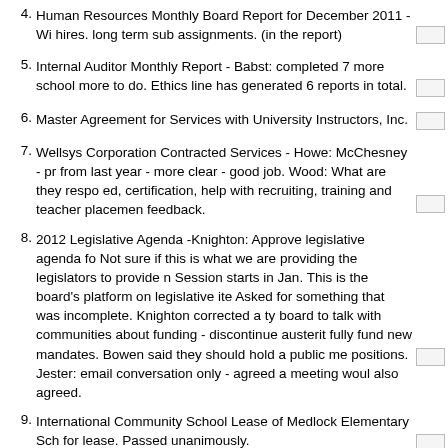Human Resources Monthly Board Report for December 2011 - Wi hires. long term sub assignments. (in the report)
Internal Auditor Monthly Report - Babst: completed 7 more school more to do. Ethics line has generated 6 reports in total.
Master Agreement for Services with University Instructors, Inc.
Wellsys Corporation Contracted Services - Howe: McChesney - pr from last year - more clear - good job. Wood: What are they respo ed, certification, help with recruiting, training and teacher placemen feedback.
2012 Legislative Agenda -Knighton: Approve legislative agenda fo Not sure if this is what we are providing the legislators to provide n Session starts in Jan. This is the board's platform on legislative ite Asked for something that was incomplete. Knighton corrected a ty board to talk with communities about funding - discontinue austerit fully fund new mandates. Bowen said they should hold a public me positions. Jester: email conversation only - agreed a meeting woul also agreed.
International Community School Lease of Medlock Elementary Sch for lease. Passed unanimously.